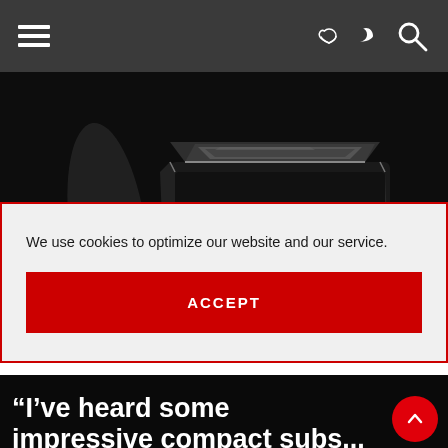Navigation bar with hamburger menu, dark/light mode toggle, and search icon
[Figure (photo): Black speaker/subwoofer product photo on dark background — hexagonal top, glossy black finish with chrome accents]
We use cookies to optimize our website and our service.
ACCEPT
$1499/each
“I’ve heard some impressive compact subs... SuperSub X